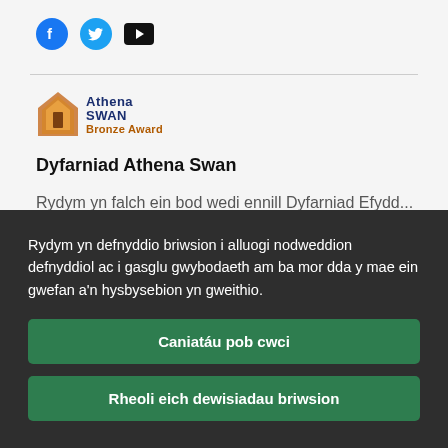[Figure (logo): Social media icons: Facebook (blue circle), Twitter (blue circle), YouTube (black play button)]
[Figure (logo): Athena SWAN Bronze Award logo with orange/gold house icon and navy blue text]
Dyfarniad Athena Swan
Rydym yn falch ein bod wedi ennill Dyfarniad Efydd...
Rydym yn defnyddio briwsion i alluogi nodweddion defnyddiol ac i gasglu gwybodaeth am ba mor dda y mae ein gwefan a'n hysbysebion yn gweithio.
Caniatáu pob cwci
Rheoli eich dewisiadau briwsion